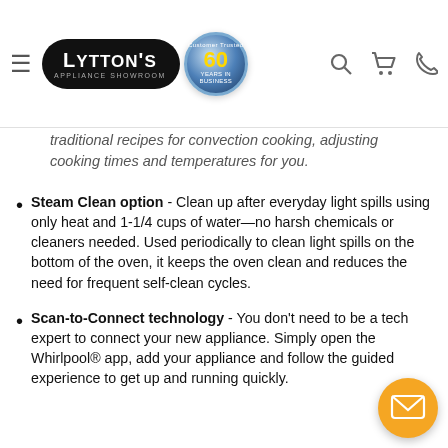[Figure (logo): Lytton's Appliance Showroom logo with 60th anniversary badge, search icon, cart icon, and phone icon in a website header navigation bar]
traditional recipes for convection cooking, adjusting cooking times and temperatures for you.
Steam Clean option - Clean up after everyday light spills using only heat and 1-1/4 cups of water—no harsh chemicals or cleaners needed. Used periodically to clean light spills on the bottom of the oven, it keeps the oven clean and reduces the need for frequent self-clean cycles.
Scan-to-Connect technology - You don't need to be a tech expert to connect your new appliance. Simply open the Whirlpool® app, add your appliance and follow the guided experience to get up and running quickly.
Remote start - When set to remote enable, use your smartphone or tablet to remotely turn your oven on so it's heated up and ready to cook meals when you are.
Keep Warm Setting - Keep dishes from getting cold with this setting that delivers low heat to the oven. Control it remotely through your Whirlpool® app or manually on the oven so food stays warm and ready to serve whether you're home or away.